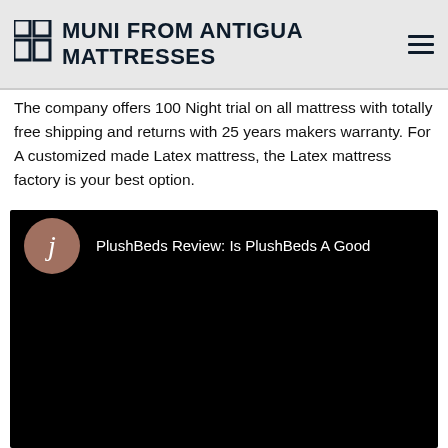MUNI FROM ANTIGUA MATTRESSES
The company offers 100 Night trial on all mattress with totally free shipping and returns with 25 years makers warranty. For A customized made Latex mattress, the Latex mattress factory is your best option.
[Figure (screenshot): Video thumbnail showing 'PlushBeds Review: Is PlushBeds A Good' with a circular avatar showing the letter 'j' on a dark/black background]